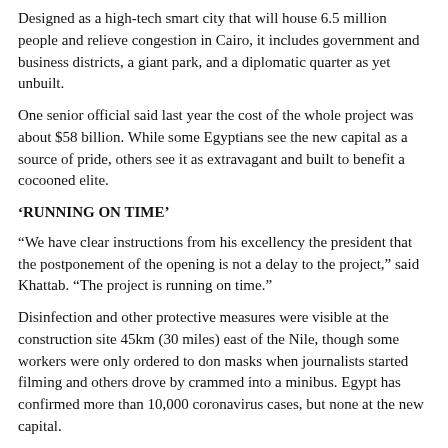Designed as a high-tech smart city that will house 6.5 million people and relieve congestion in Cairo, it includes government and business districts, a giant park, and a diplomatic quarter as yet unbuilt.
One senior official said last year the cost of the whole project was about $58 billion. While some Egyptians see the new capital as a source of pride, others see it as extravagant and built to benefit a cocooned elite.
‘RUNNING ON TIME’
“We have clear instructions from his excellency the president that the postponement of the opening is not a delay to the project,” said Khattab. “The project is running on time.”
Disinfection and other protective measures were visible at the construction site 45km (30 miles) east of the Nile, though some workers were only ordered to don masks when journalists started filming and others drove by crammed into a minibus. Egypt has confirmed more than 10,000 coronavirus cases, but none at the new capital.
Delays in payments to contractors and to imported supplies were additional risks, said Shams Eldin Youssef, a member of Egypt’s union for construction contractors. Khattab said the government had contractors’ payments in hand.
The Housing Ministry expects to deliver two residential districts by late 2021, while the business district should be finished by early